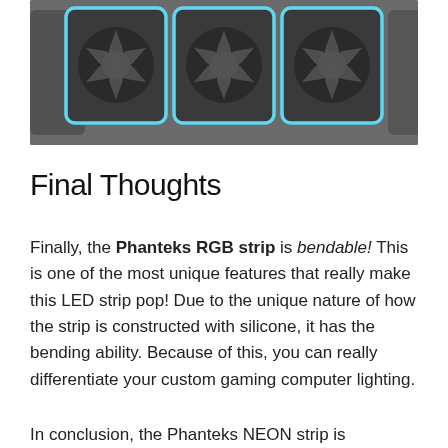[Figure (photo): Three computer case fans with cyan/light blue LED lighting border on a dark gray background, viewed from front]
Final Thoughts
Finally, the Phanteks RGB strip is bendable! This is one of the most unique features that really make this LED strip pop! Due to the unique nature of how the strip is constructed with silicone, it has the bending ability. Because of this, you can really differentiate your custom gaming computer lighting.
In conclusion, the Phanteks NEON strip is